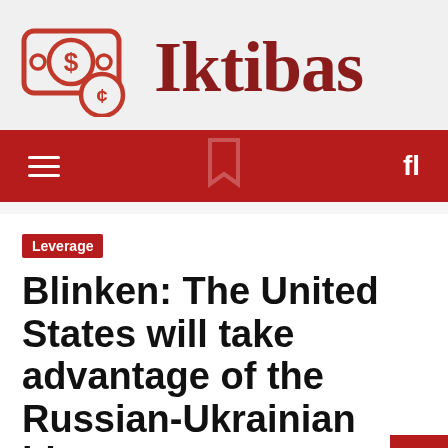[Figure (logo): Iktibas logo: a red money/dollar bill icon with a dollar sign and cent coin, next to the text 'Iktibas' in dark red serif font]
≡   fl
Leverage
Blinken: The United States will take advantage of the Russian-Ukrainian bloc